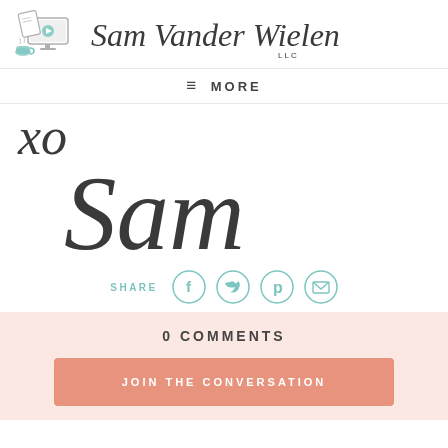[Figure (logo): Sam Vander Wielen LLC logo with illustrated monitor, papers, coffee cup, and cursive brand name]
≡ MORE
[Figure (illustration): Handwritten cursive signature reading 'xo' and 'Sam']
SHARE
[Figure (infographic): Social share icons: Facebook, Twitter, Pinterest, Email]
0 COMMENTS
JOIN THE CONVERSATION